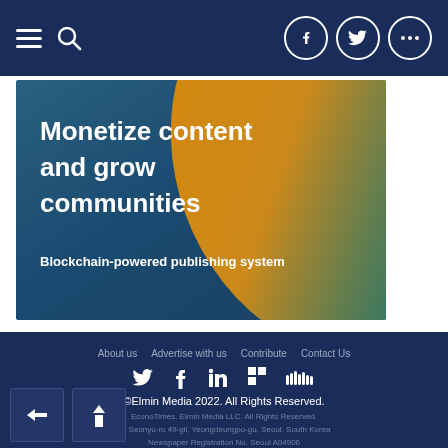Navigation bar with hamburger menu, search icon, Facebook, Twitter, and more social icons
[Figure (illustration): Advertisement banner with dark blue and gold gradient background, text: 'Monetize content and grow communities' and 'Blockchain-powered publishing system']
About us | Advertise with us | Contribute | Contact Us | Social icons (Twitter, Facebook, LinkedIn, Flipboard, SoundCloud) | ©Elmin Media 2022. All Rights Reserved. | EconoTimes. Elmin Media LLC. All Rights Reserved. 17 Seonyu-ro 49-gil, Yeongdeungpo-gu, Seoul, South Korea Newspaper Registration No. Seoul A04906 Registration Date. 2018.01.02 Publisher/Editor. Sungmin Kwon